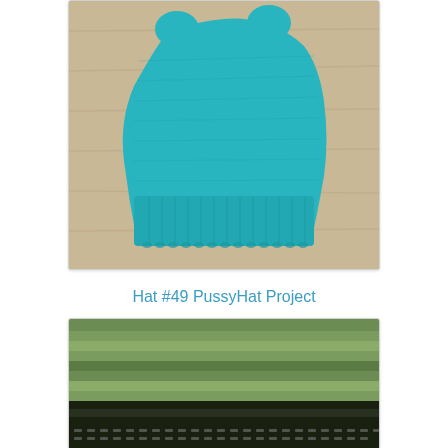[Figure (photo): A teal/turquoise knitted hat laid flat on a wood surface, showing the body and ribbed brim of the hat. The hat has cat-ear-like bumps at the top corners.]
Hat #49 PussyHat Project
[Figure (photo): A knitted hat or fabric piece laid flat, showing striped pattern in shades of green and olive, with dark near-black stripes near the bottom edge. The background is a light peach/tan surface.]